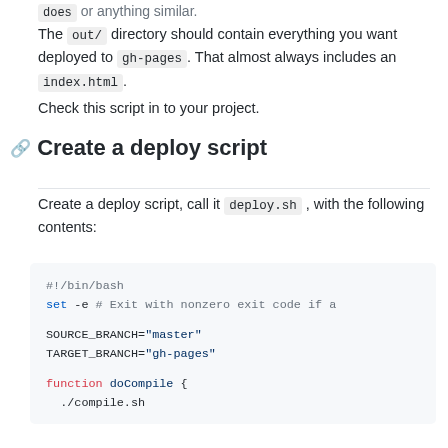does or anything similar. The out/ directory should contain everything you want deployed to gh-pages. That almost always includes an index.html.
Check this script in to your project.
Create a deploy script
Create a deploy script, call it deploy.sh , with the following contents:
#!/bin/bash
set -e # Exit with nonzero exit code if a

SOURCE_BRANCH="master"
TARGET_BRANCH="gh-pages"

function doCompile {
  ./compile.sh